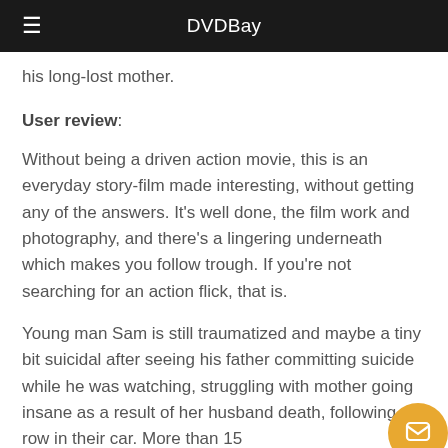DVDBay
his long-lost mother.
User review:
Without being a driven action movie, this is an everyday story-film made interesting, without getting any of the answers. It’s well done, the film work and photography, and there’s a lingering underneath which makes you follow trough. If you’re not searching for an action flick, that is.
Young man Sam is still traumatized and maybe a tiny bit suicidal after seeing his father committing suicide while he was watching, struggling with mother going insane as a result of her husband death, following a row in their car. More than 15